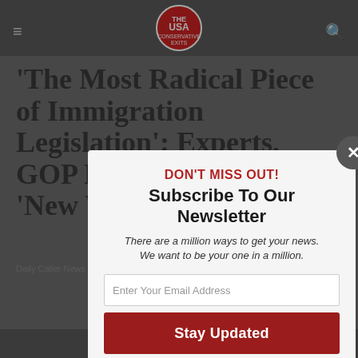USA [logo] navigation bar
'The Most Radical Piece of Immigration Legislation': Experts, GOP React To Democratic 'New Way Forward' Bill
Daily Caller News Foundation
DON'T MISS OUT!
Subscribe To Our Newsletter
There are a million ways to get your news. We want to be your one in a million.
Enter Your Email Address
Stay Updated